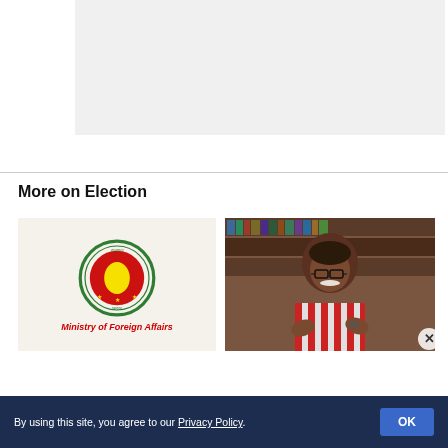[Figure (other): Gray placeholder image area at the top of the page]
More on Election
[Figure (logo): Ministry of Foreign Affairs Bangladesh logo with circular green seal and red map of Bangladesh, with text 'Ministry of Foreign Affairs' in red italic below]
[Figure (photo): Photo of an elderly man in a red and white striped shirt gesturing with hands, seated in front of bookshelves]
By using this site, you agree to our Privacy Policy.